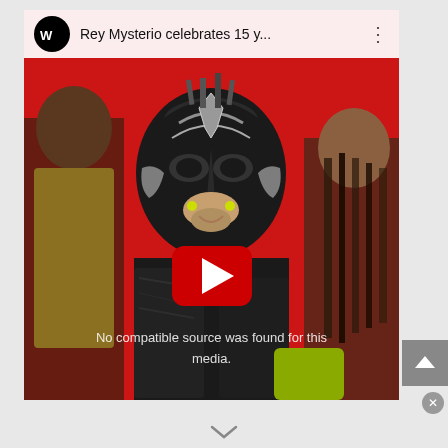[Figure (screenshot): A YouTube video player screenshot showing a WWE video titled 'Rey Mysterio celebrates 15 y...' with the WWE logo. The thumbnail shows Rey Mysterio in his wrestling mask (black and silver) with other wrestlers on a red background. A red YouTube play button is visible in the center. Text reads 'No compatible source was found for this media.' A scroll-up arrow button appears on the right side, and a close button below it.]